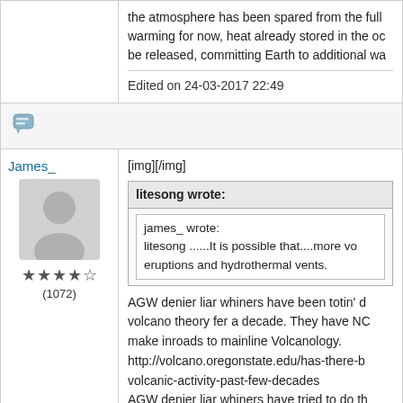the atmosphere has been spared from the full warming for now, heat already stored in the ocean will be released, committing Earth to additional warming.
Edited on 24-03-2017 22:49
[Figure (other): Chat/quote icon]
James_
[Figure (other): User avatar silhouette]
★★★★☆ (1072)
[img][/img]
litesong wrote:
james_ wrote:
litesong ......It is possible that....more vo eruptions and hydrothermal vents.
AGW denier liar whiners have been totin' da volcano theory fer a decade. They have NO make inroads to mainline Volcanology. http://volcano.oregonstate.edu/has-there-be volcanic-activity-past-few-decades AGW denier liar whiners have tried to do th extra-terrestrial mechanisms increasing Ea Mainline astronomy doesn't fall for the con,
litesong,
I think when you call people liars and whiners i than using abusive behavior to make your poi